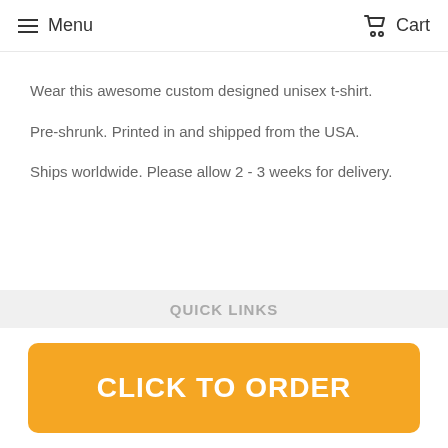Menu  Cart
Wear this awesome custom designed unisex t-shirt.
Pre-shrunk. Printed in and shipped from the USA.
Ships worldwide. Please allow 2 - 3 weeks for delivery.
QUICK LINKS
CLICK TO ORDER